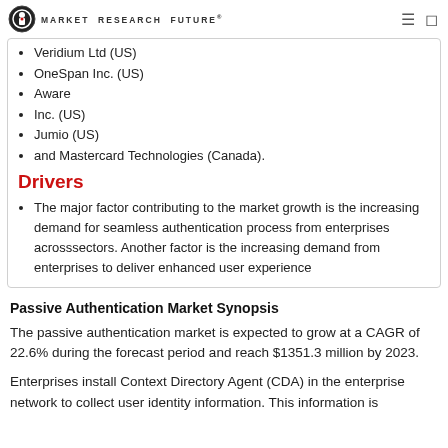Market Research Future
Veridium Ltd (US)
OneSpan Inc. (US)
Aware
Inc. (US)
Jumio (US)
and Mastercard Technologies (Canada).
Drivers
The major factor contributing to the market growth is the increasing demand for seamless authentication process from enterprises acrosssectors. Another factor is the increasing demand from enterprises to deliver enhanced user experience
Passive Authentication Market Synopsis
The passive authentication market is expected to grow at a CAGR of 22.6% during the forecast period and reach $1351.3 million by 2023.
Enterprises install Context Directory Agent (CDA) in the enterprise network to collect user identity information. This information is